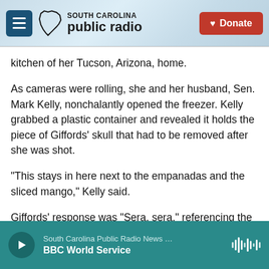[Figure (screenshot): South Carolina Public Radio website header with hamburger menu button, South Carolina Public Radio logo, and red Donate button]
kitchen of her Tucson, Arizona, home.
As cameras were rolling, she and her husband, Sen. Mark Kelly, nonchalantly opened the freezer. Kelly grabbed a plastic container and revealed it holds the piece of Giffords' skull that had to be removed after she was shot.
"This stays in here next to the empanadas and the sliced mango," Kelly said.
Giffords' response was "Sera, sera," referencing the song "Que sera, sera" or "What will be, will be."
South Carolina Public Radio News … BBC World Service